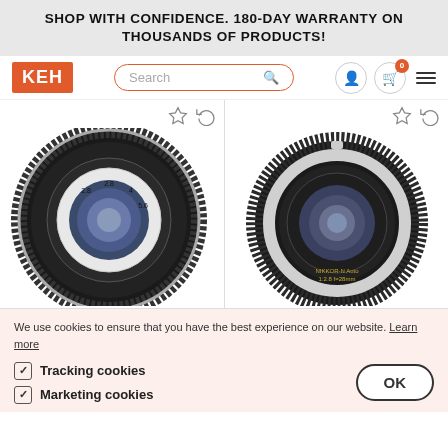SHOP WITH CONFIDENCE. 180-DAY WARRANTY ON THOUSANDS OF PRODUCTS!
[Figure (screenshot): KEH camera store website navigation bar with orange KEH logo, search bar, user icon, cart icon with 0 badge, and hamburger menu]
[Figure (photo): Black Nikon camera lens (wide angle, 28mm) shown from front-left perspective with aperture and focus rings visible]
[Figure (photo): Black Nikkor-N Auto 1:2.8 camera lens shown from front-left perspective with white/silver trim ring]
We use cookies to ensure that you have the best experience on our website. Learn more
Tracking cookies
Marketing cookies
OK